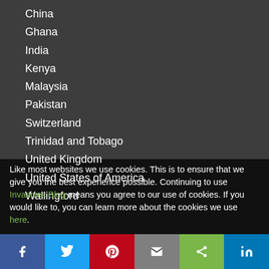China
Ghana
India
Kenya
Malaysia
Pakistan
Switzerland
Trinidad and Tobago
United Kingdom
United States of America
Wallingford
Like most websites we use cookies. This is to ensure that we give you the best experience possible. Continuing to use Invasives Blog means you agree to our use of cookies. If you would like to, you can learn more about the cookies we use here.
[Figure (other): Social sharing bar with Facebook, Twitter, Pinterest, Email, Share, and LinkedIn buttons]